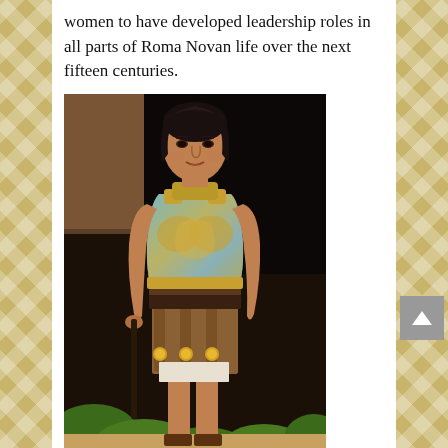women to have developed leadership roles in all parts of Roma Novan life over the next fifteen centuries.
[Figure (photo): A woman dressed in Roman-style warrior armor (golden breastplate with eagle motif, leather belt, pleated leather skirt/pteryges with gold medallions) standing outdoors holding a staff or weapon, short dark hair, looking slightly downward and to the side.]